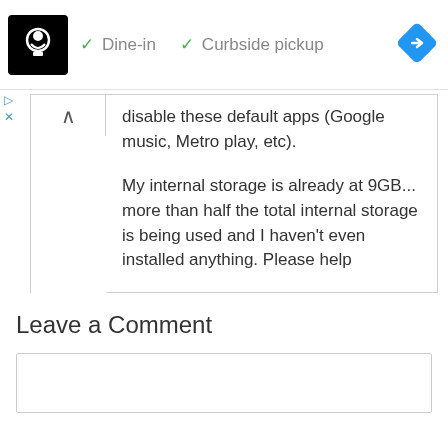[Figure (screenshot): Top banner with restaurant logo (chef/cook icon on black background), checkmarks for Dine-in and Curbside pickup, and a blue navigation diamond icon]
disable these default apps (Google music, Metro play, etc).
My internal storage is already at 9GB... more than half the total internal storage is being used and I haven't even installed anything. Please help
Leave a Comment